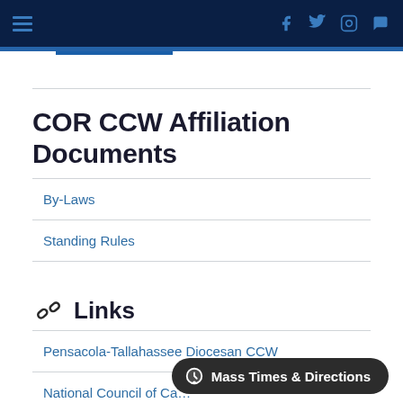Navigation bar with hamburger menu and social icons (Facebook, Twitter, Instagram, chat)
COR CCW Affiliation Documents
By-Laws
Standing Rules
Links
Pensacola-Tallahassee Diocesan CCW
National Council of Ca...
Mass Times & Directions